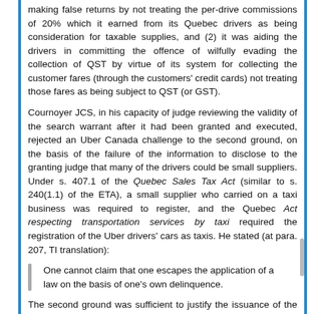making false returns by not treating the per-drive commissions of 20% which it earned from its Quebec drivers as being consideration for taxable supplies, and (2) it was aiding the drivers in committing the offence of wilfully evading the collection of QST by virtue of its system for collecting the customer fares (through the customers' credit cards) not treating those fares as being subject to QST (or GST).
Cournoyer JCS, in his capacity of judge reviewing the validity of the search warrant after it had been granted and executed, rejected an Uber Canada challenge to the second ground, on the basis of the failure of the information to disclose to the granting judge that many of the drivers could be small suppliers. Under s. 407.1 of the Quebec Sales Tax Act (similar to s. 240(1.1) of the ETA), a small supplier who carried on a taxi business was required to register, and the Quebec Act respecting transportation services by taxi required the registration of the Uber drivers' cars as taxis. He stated (at para. 207, TI translation):
One cannot claim that one escapes the application of a law on the basis of one's own delinquence.
The second ground was sufficient to justify the issuance of the search warrant, so that the first ground was not addressed.